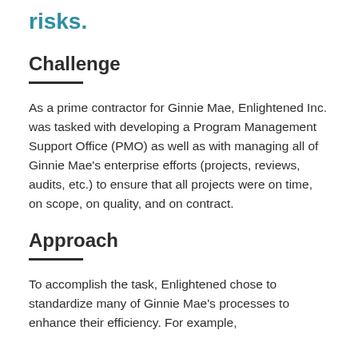risks.
Challenge
As a prime contractor for Ginnie Mae, Enlightened Inc. was tasked with developing a Program Management Support Office (PMO) as well as with managing all of Ginnie Mae's enterprise efforts (projects, reviews, audits, etc.) to ensure that all projects were on time, on scope, on quality, and on contract.
Approach
To accomplish the task, Enlightened chose to standardize many of Ginnie Mae's processes to enhance their efficiency. For example,